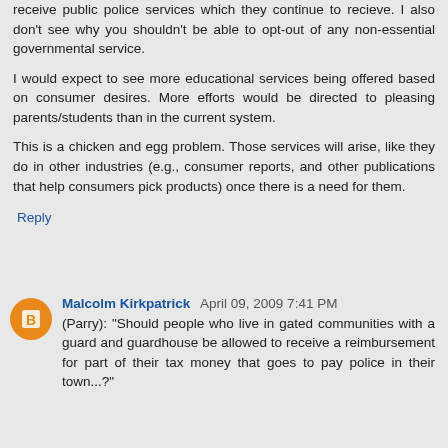receive public police services which they continue to recieve. I also don't see why you shouldn't be able to opt-out of any non-essential governmental service.
I would expect to see more educational services being offered based on consumer desires. More efforts would be directed to pleasing parents/students than in the current system.
This is a chicken and egg problem. Those services will arise, like they do in other industries (e.g., consumer reports, and other publications that help consumers pick products) once there is a need for them.
Reply
Malcolm Kirkpatrick  April 09, 2009 7:41 PM
(Parry): "Should people who live in gated communities with a guard and guardhouse be allowed to receive a reimbursement for part of their tax money that goes to pay police in their town...?"